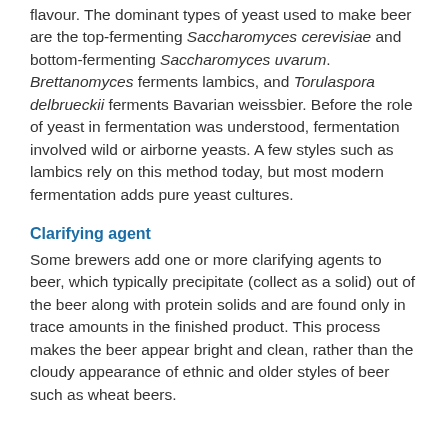flavour. The dominant types of yeast used to make beer are the top-fermenting Saccharomyces cerevisiae and bottom-fermenting Saccharomyces uvarum. Brettanomyces ferments lambics, and Torulaspora delbrueckii ferments Bavarian weissbier. Before the role of yeast in fermentation was understood, fermentation involved wild or airborne yeasts. A few styles such as lambics rely on this method today, but most modern fermentation adds pure yeast cultures.
Clarifying agent
Some brewers add one or more clarifying agents to beer, which typically precipitate (collect as a solid) out of the beer along with protein solids and are found only in trace amounts in the finished product. This process makes the beer appear bright and clean, rather than the cloudy appearance of ethnic and older styles of beer such as wheat beers.